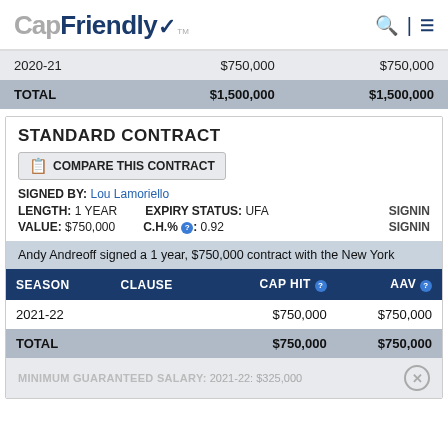CapFriendly
| Season | Cap Hit | AAV |
| --- | --- | --- |
| 2020-21 | $750,000 | $750,000 |
| TOTAL | $1,500,000 | $1,500,000 |
STANDARD CONTRACT
COMPARE THIS CONTRACT
SIGNED BY: Lou Lamoriello
LENGTH: 1 YEAR   EXPIRY STATUS: UFA   SIGNIN
VALUE: $750,000   C.H.%: 0.92   SIGNIN
Andy Andreoff signed a 1 year, $750,000 contract with the New York
| SEASON | CLAUSE | CAP HIT | AAV |
| --- | --- | --- | --- |
| 2021-22 |  | $750,000 | $750,000 |
| TOTAL |  | $750,000 | $750,000 |
MINIMUM GUARANTEED SALARY: 2021-22: $325,000